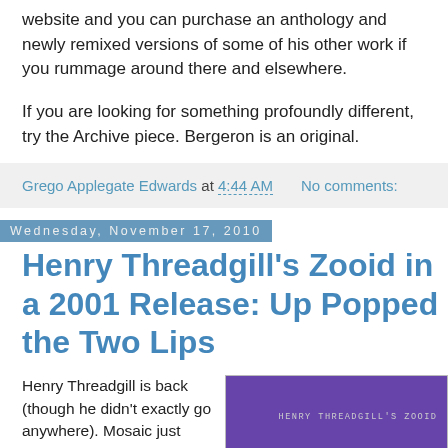website and you can purchase an anthology and newly remixed versions of some of his other work if you rummage around there and elsewhere.
If you are looking for something profoundly different, try the Archive piece. Bergeron is an original.
Grego Applegate Edwards at 4:44 AM    No comments:
Wednesday, November 17, 2010
Henry Threadgill's Zooid in a 2001 Release: Up Popped the Two Lips
Henry Threadgill is back (though he didn't exactly go anywhere). Mosaic just released a box set of his earlier
[Figure (photo): Album cover for Henry Threadgill's Zooid, purple background with stylized artwork and handwritten-style text reading 'HENRY THREADGILL'S ZOOID']